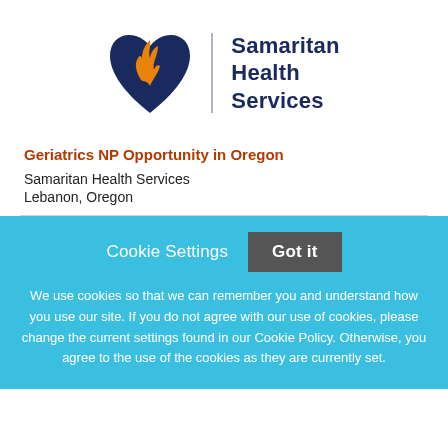[Figure (logo): Samaritan Health Services logo: blue heart with orange flame and text 'Samaritan Health Services']
Geriatrics NP Opportunity in Oregon
Samaritan Health Services
Lebanon, Oregon
Cookie Settings  Got it
We use cookies so that we can remember you and understand how you use our site. If you do not agree with our use of cookies, please change the current settings found in our Cookie Policy. Otherwise, you agree to the use of the cookies as they are currently set.